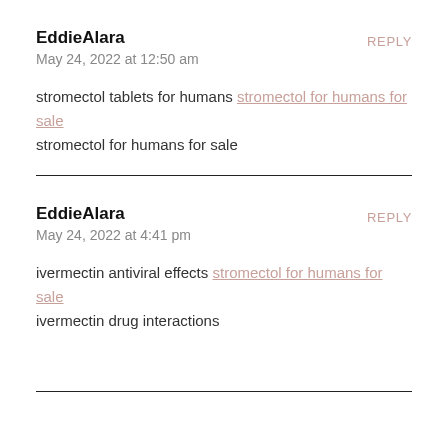EddieAlara
May 24, 2022 at 12:50 am
stromectol tablets for humans stromectol for humans for sale stromectol for humans for sale
EddieAlara
May 24, 2022 at 4:41 pm
ivermectin antiviral effects stromectol for humans for sale ivermectin drug interactions